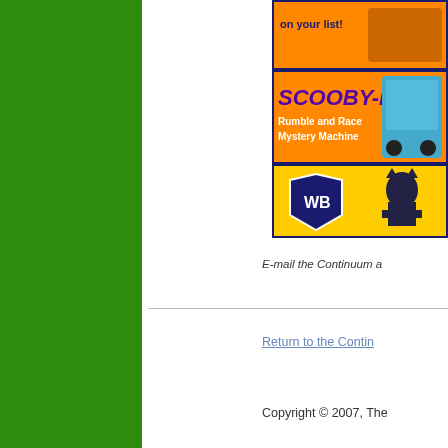[Figure (illustration): Advertisement banner showing Warner Bros Scooby-Doo Rumble and Race Mystery Machine toy product with orange background, Scooby-Doo logo in purple, WB shield logo, and Batman character figure]
E-mail the Continuum a
Return to the Continu
Copyright © 2007, The